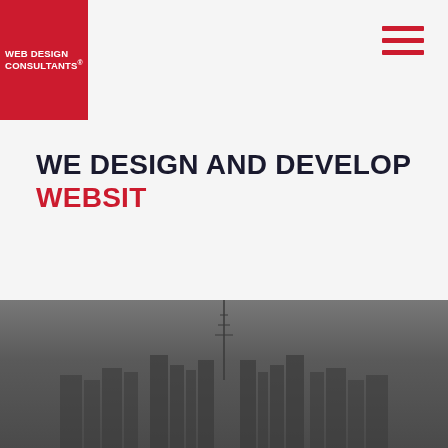[Figure (logo): Web Design Consultants red square logo with white text reading WEB DESIGN CONSULTANTS]
[Figure (other): Hamburger menu icon with three red horizontal bars in top right corner]
WE DESIGN AND DEVELOP WEBSIT
[Figure (photo): Grayscale photo of New York City skyline with dark overlay]
We're Web Design Consultants, an award-winning full service web design agency headquartered in New York City. We create